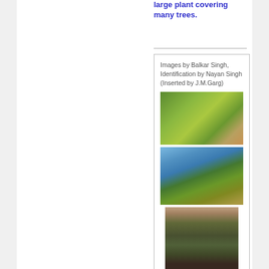large plant covering many trees.
Images by Balkar Singh, Identification by Nayan Singh (Inserted by J.M.Garg)
[Figure (photo): Close-up photograph of plant leaves with green foliage and brownish rocky background]
[Figure (photo): Close-up photograph of plant branches and leaves against blue sky background]
[Figure (photo): Ground-level photograph of plant with grass-like leaves growing among rocks]